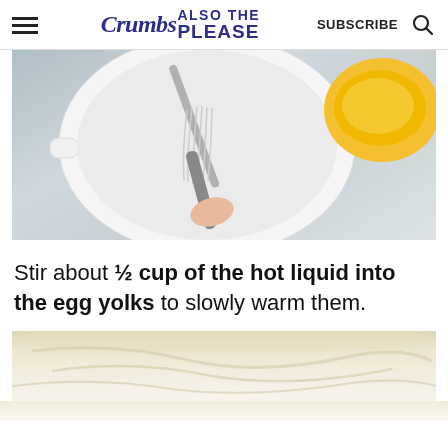Also The Crumbs Please — SUBSCRIBE
[Figure (photo): Top-down view of a hand holding a whisk in a white saucepan with light liquid, and a bowl of yellow egg yolks on the right side, on a gray surface.]
Stir about ½ cup of the hot liquid into the egg yolks to slowly warm them.
[Figure (photo): Partial view of a bowl with a creamy yellowish-white mixture being stirred, seen from above.]